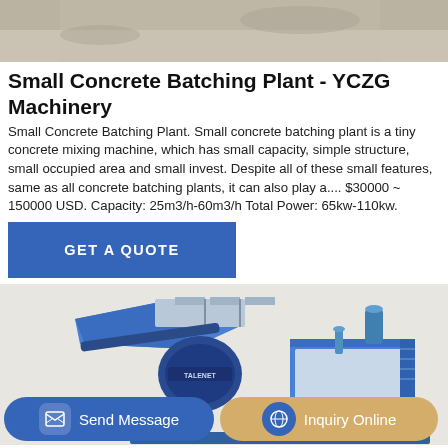[Figure (photo): Top portion of a concrete batching plant machine, aerial/close-up view of concrete surface and machinery.]
Small Concrete Batching Plant - YCZG Machinery
Small Concrete Batching Plant. Small concrete batching plant is a tiny concrete mixing machine, which has small capacity, simple structure, small occupied area and small invest. Despite all of these small features, same as all concrete batching plants, it can also play a.... $30000 ~ 150000 USD. Capacity: 25m3/h-60m3/h Total Power: 65kw-110kw.
[Figure (photo): Blue TALENET brand small concrete batching plant machine, side view showing mixer, hopper, and frame structure.]
GET A QUOTE
Send Message
Inquiry Online